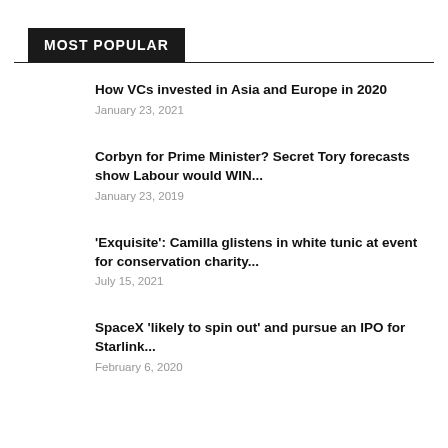MOST POPULAR
How VCs invested in Asia and Europe in 2020
January 23, 2021
Corbyn for Prime Minister? Secret Tory forecasts show Labour would WIN...
January 23, 2019
'Exquisite': Camilla glistens in white tunic at event for conservation charity...
July 15, 2021
SpaceX 'likely to spin out' and pursue an IPO for Starlink...
February 6, 2020